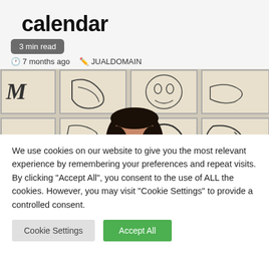calendar
3 min read
7 months ago   JUALDOMAIN
[Figure (photo): A woman with long dark hair standing in front of a wall of framed line-drawing artworks depicting faces, animals, and abstract figures]
We use cookies on our website to give you the most relevant experience by remembering your preferences and repeat visits. By clicking "Accept All", you consent to the use of ALL the cookies. However, you may visit "Cookie Settings" to provide a controlled consent.
Cookie Settings   Accept All